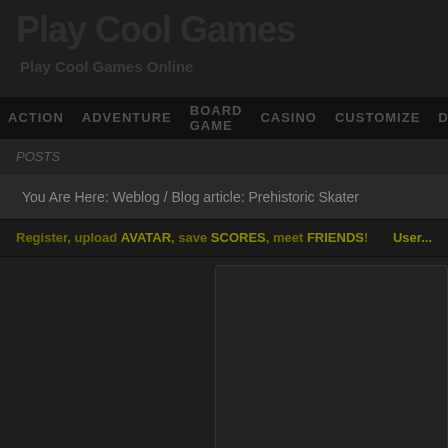Play Cool Games
Play Cool Games Online
ACTION  ADVENTURE  BOARD GAME  CASINO  CUSTOMIZE  ...
POSTS
You Are Here: Weblog / Blog article: Prehistoric Skater
Register, upload AVATAR, save SCORES, meet FRIENDS!  Username
[Figure (screenshot): Dark content area with left panel and right rounded box panel]